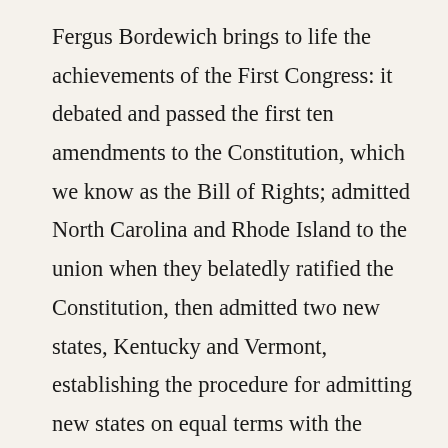Fergus Bordewich brings to life the achievements of the First Congress: it debated and passed the first ten amendments to the Constitution, which we know as the Bill of Rights; admitted North Carolina and Rhode Island to the union when they belatedly ratified the Constitution, then admitted two new states, Kentucky and Vermont, establishing the procedure for admitting new states on equal terms with the original thirteen; chose the site of the national capital, a new city to be built on the Potomac; created a national bank to handle the infant republic's finances; created the first cabinet positions and the federal court system;